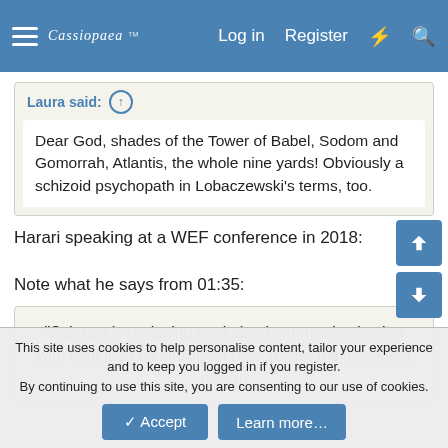Cassiopaea Log in Register [lightning] [search]
Laura said: ↑
Dear God, shades of the Tower of Babel, Sodom and Gomorrah, Atlantis, the whole nine yards! Obviously a schizoid psychopath in Lobaczewski's terms, too.
Harari speaking at a WEF conference in 2018:
Note what he says from 01:35:
"Science is replacing evolution by natural selection with evolution by intelligent design. Not the intelligent design
This site uses cookies to help personalise content, tailor your experience and to keep you logged in if you register.
By continuing to use this site, you are consenting to our use of cookies.
✓ Accept
Learn more…